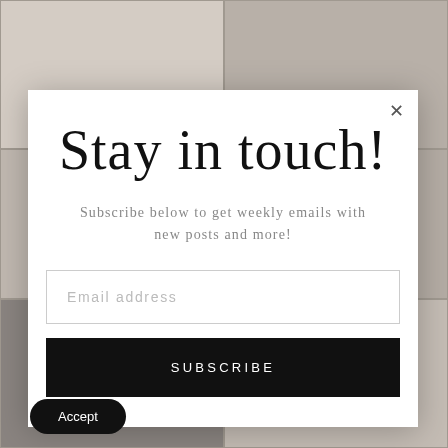[Figure (photo): Background showing a grid of social media style photos, partially visible behind a modal popup]
Stay in touch!
Subscribe below to get weekly emails with new posts and more!
Email address
SUBSCRIBE
Accept